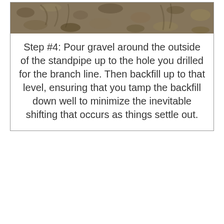[Figure (photo): Photograph showing gravel and soil around a standpipe installation in a dug hole, viewed from above.]
Step #4: Pour gravel around the outside of the standpipe up to the hole you drilled for the branch line. Then backfill up to that level, ensuring that you tamp the backfill down well to minimize the inevitable shifting that occurs as things settle out.